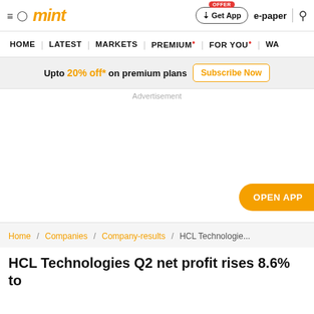mint
HOME | LATEST | MARKETS | PREMIUM | FOR YOU | WA
Upto 20% off* on premium plans Subscribe Now
Advertisement
OPEN APP
Home / Companies / Company-results / HCL Technologie...
HCL Technologies Q2 net profit rises 8.6% to